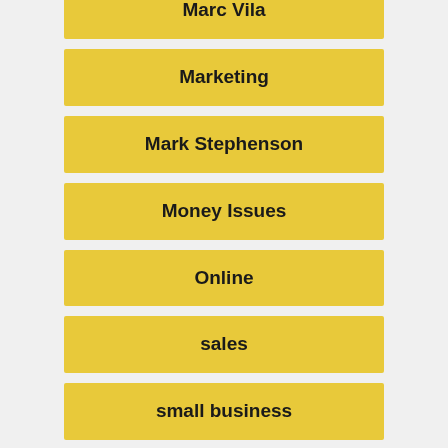Marc Vila
Marketing
Mark Stephenson
Money Issues
Online
sales
small business
social media marketing
Startup Business
sublimation business
Suppliers